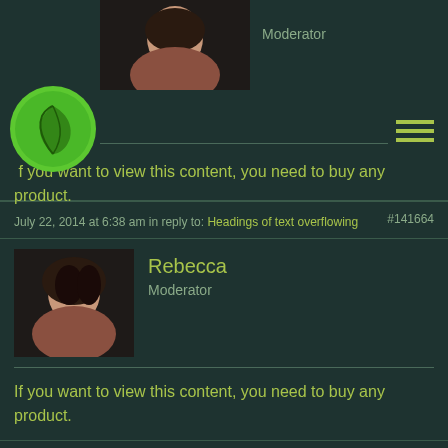[Figure (screenshot): Forum post page showing user Rebecca (Moderator) replies with avatar photos and green-themed dark UI]
Moderator
[Figure (logo): Green circular logo with leaf/plant icon]
If you want to view this content, you need to buy any product.
July 22, 2014 at 6:38 am in reply to: Headings of text overflowing
#141664
Rebecca
Moderator
If you want to view this content, you need to buy any product.
July 22, 2014 at 6:34 am in reply to: replace to home page feature slider
#141663
Rebecca